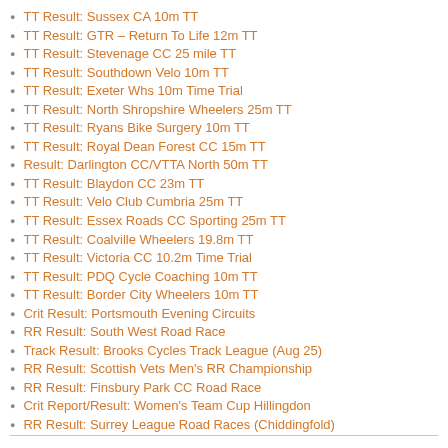TT Result: Sussex CA 10m TT
TT Result: GTR – Return To Life 12m TT
TT Result: Stevenage CC 25 mile TT
TT Result: Southdown Velo 10m TT
TT Result: Exeter Whs 10m Time Trial
TT Result: North Shropshire Wheelers 25m TT
TT Result: Ryans Bike Surgery 10m TT
TT Result: Royal Dean Forest CC 15m TT
Result: Darlington CC/VTTA North 50m TT
TT Result: Blaydon CC 23m TT
TT Result: Velo Club Cumbria 25m TT
TT Result: Essex Roads CC Sporting 25m TT
TT Result: Coalville Wheelers 19.8m TT
TT Result: Victoria CC 10.2m Time Trial
TT Result: PDQ Cycle Coaching 10m TT
TT Result: Border City Wheelers 10m TT
Crit Result: Portsmouth Evening Circuits
RR Result: South West Road Race
Track Result: Brooks Cycles Track League (Aug 25)
RR Result: Scottish Vets Men's RR Championship
RR Result: Finsbury Park CC Road Race
Crit Report/Result: Women's Team Cup Hillingdon
RR Result: Surrey League Road Races (Chiddingfold)